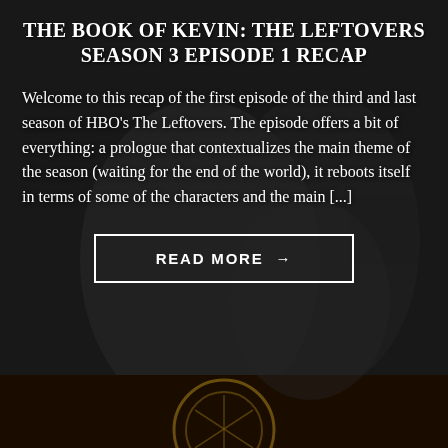THE BOOK OF KEVIN: THE LEFTOVERS SEASON 3 EPISODE 1 RECAP
Welcome to this recap of the first episode of the third and last season of HBO's The Leftovers. The episode offers a bit of everything: a prologue that contextualizes the main theme of the season (waiting for the end of the world), it reboots itself in terms of some of the characters and the main [...]
READ MORE →